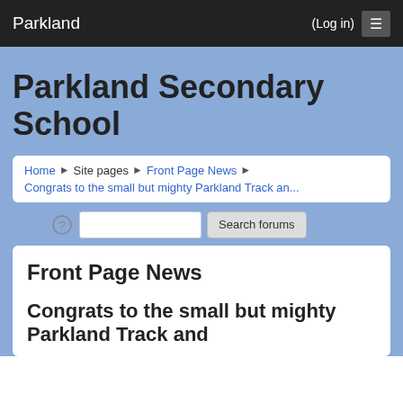Parkland (Log in) ☰
Parkland Secondary School
Home ▶ Site pages ▶ Front Page News ▶ Congrats to the small but mighty Parkland Track an...
Search forums
Front Page News
Congrats to the small but mighty Parkland Track and